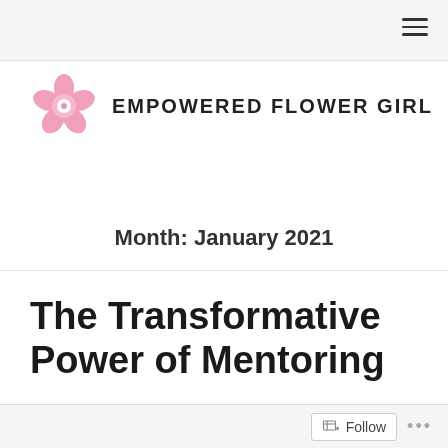[Figure (logo): Empowered Flower Girl logo: pink flower icon with white center next to bold text EMPOWERED FLOWER GIRL]
Month: January 2021
The Transformative Power of Mentoring
Posted on January 27, 2021
Follow  ...